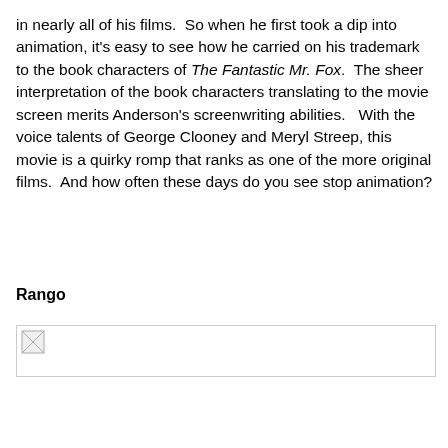in nearly all of his films.  So when he first took a dip into animation, it's easy to see how he carried on his trademark to the book characters of The Fantastic Mr. Fox.  The sheer interpretation of the book characters translating to the movie screen merits Anderson's screenwriting abilities.   With the voice talents of George Clooney and Meryl Streep, this movie is a quirky romp that ranks as one of the more original films.  And how often these days do you see stop animation?
Rango
[Figure (photo): Broken/missing image placeholder for Rango section]